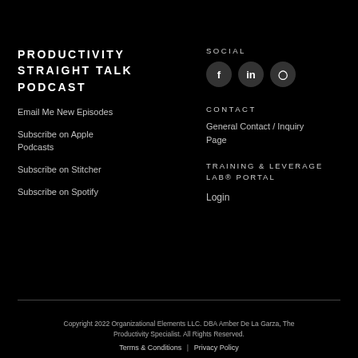PRODUCTIVITY STRAIGHT TALK PODCAST
Email Me New Episodes
Subscribe on Apple Podcasts
Subscribe on Stitcher
Subscribe on Spotify
SOCIAL
[Figure (other): Social media icons: Facebook (f), LinkedIn (in), Instagram]
CONTACT
General Contact / Inquiry Page
TRAINING & LEVERAGE LAB® PORTAL
Login
Copyright 2022 Organizational Elements LLC. DBA Amber De La Garza, The Productivity Specialist. All Rights Reserved.
Terms & Conditions | Privacy Policy